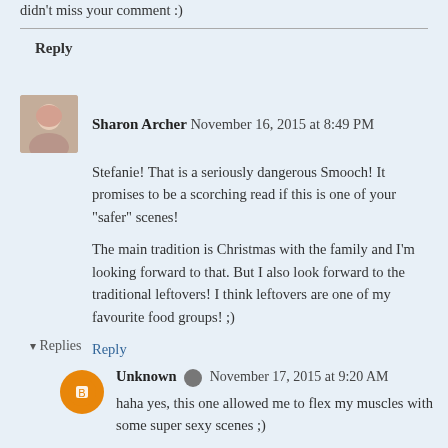didn't miss your comment :)
Reply
Sharon Archer  November 16, 2015 at 8:49 PM
Stefanie! That is a seriously dangerous Smooch! It promises to be a scorching read if this is one of your "safer" scenes!
The main tradition is Christmas with the family and I'm looking forward to that. But I also look forward to the traditional leftovers! I think leftovers are one of my favourite food groups! ;)
Reply
Replies
Unknown  November 17, 2015 at 9:20 AM
haha yes, this one allowed me to flex my muscles with some super sexy scenes ;)
Leftovers are great, our family loves the leftover